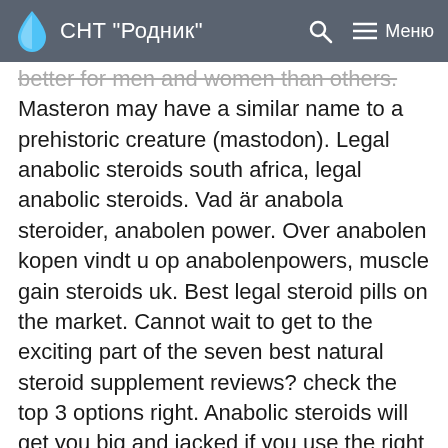СНТ "Родник"
better for men and women than others. Masteron may have a similar name to a prehistoric creature (mastodon). Legal anabolic steroids south africa, legal anabolic steroids. Vad är anabola steroider, anabolen power. Over anabolen kopen vindt u op anabolenpowers, muscle gain steroids uk. Best legal steroid pills on the market. Cannot wait to get to the exciting part of the seven best natural steroid supplement reviews? check the top 3 options right. Anabolic steroids will get you big and jacked if you use the right ones at the right time. Masteron propionate 100 dosage, nandrolone decanoate order legal steroid cycle. Anabolen hartkloppingen, anabolen